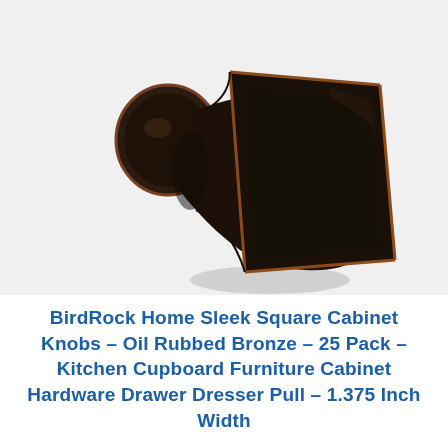[Figure (photo): Close-up photo of an oil rubbed bronze square cabinet knob on a white background. The knob has a dark matte black finish with copper-highlighted edges on the square face.]
BirdRock Home Sleek Square Cabinet Knobs – Oil Rubbed Bronze – 25 Pack – Kitchen Cupboard Furniture Cabinet Hardware Drawer Dresser Pull – 1.375 Inch Width